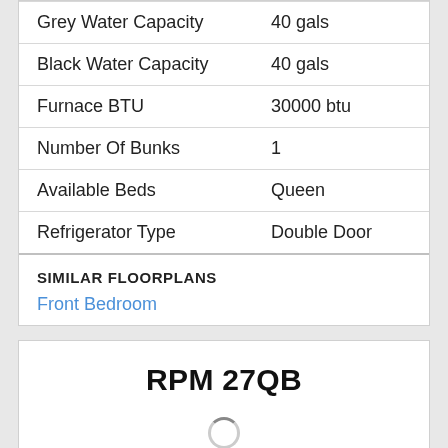| Attribute | Value |
| --- | --- |
| Grey Water Capacity | 40 gals |
| Black Water Capacity | 40 gals |
| Furnace BTU | 30000 btu |
| Number Of Bunks | 1 |
| Available Beds | Queen |
| Refrigerator Type | Double Door |
SIMILAR FLOORPLANS
Front Bedroom
RPM 27QB
Chinook RPM toy hauler 27QB highlights: 15' Garage Private Bedroom Hannijac Bed  more